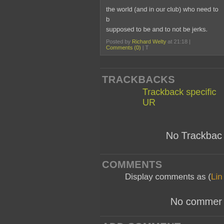the world (and in our club) who need to be supposed to be and to not be jerks.
Posted by Richard Welty at 21:18 | Comments (0) | T
TRACKBACKS
Trackback specific UR
No Trackbac
COMMENTS
Display comments as (Lin
No commer
ADD COMMENT
Name
Email
Homepage
In reply to
[ Top level ]